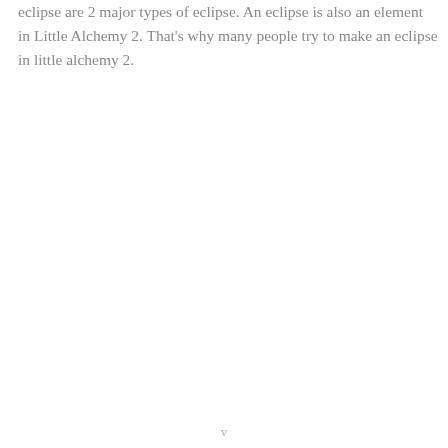eclipse are 2 major types of eclipse. An eclipse is also an element in Little Alchemy 2. That's why many people try to make an eclipse in little alchemy 2.
v